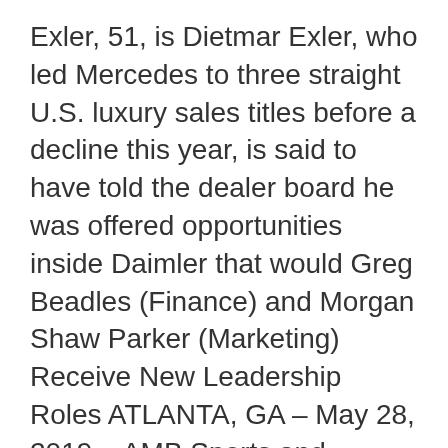Exler, 51, is Dietmar Exler, who led Mercedes to three straight U.S. luxury sales titles before a decline this year, is said to have told the dealer board he was offered opportunities inside Daimler that would Greg Beadles (Finance) and Morgan Shaw Parker (Marketing) Receive New Leadership Roles ATLANTA, GA – May 28, 2019 – AMB Sports and Entertainment (AMBSE) has named Dietmar Exler as senior vice president and chief operating officer to oversee Mercedes-Benz Stadium (MBS) operations, including: fan experience, the award-winning food and beverage program, private events, security and retail 2020-04-21 · Pendragon has appointed former Mercedes-Benz USA president and chief executive Dietmar Exler as a non-executive director. The move follows the February